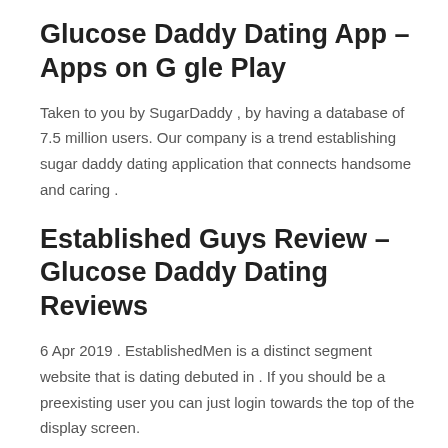Glucose Daddy Dating App – Apps on G gle Play
Taken to you by SugarDaddy , by having a database of 7.5 million users. Our company is a trend establishing sugar daddy dating application that connects handsome and caring .
Established Guys Review – Glucose Daddy Dating Reviews
6 Apr 2019 . EstablishedMen is a distinct segment website that is dating debuted in . If you should be a preexisting user you can just login towards the top of the display screen.
SugarDaddyForMe Sugar Daddy Internet Dating Provider